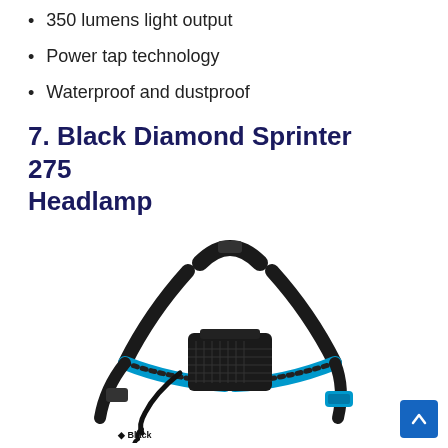350 lumens light output
Power tap technology
Waterproof and dustproof
7. Black Diamond Sprinter 275 Headlamp
[Figure (photo): Black Diamond Sprinter 275 Headlamp with black straps and blue accents, shown on a white background. The headlamp unit is black and rectangular, mounted on crossing black straps with blue trim and buckles.]